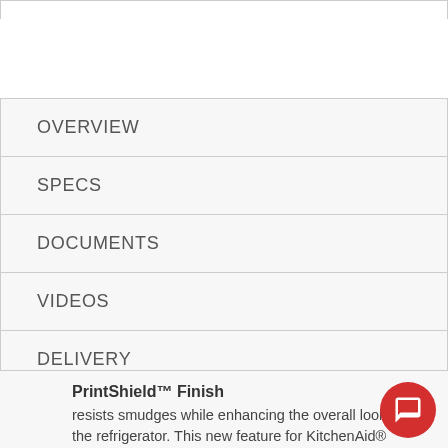OVERVIEW
SPECS
DOCUMENTS
VIDEOS
DELIVERY
REVIEWS (83)
PrintShield™ Finish
resists smudges while enhancing the overall look of the refrigerator. This new feature for KitchenAid® takes the